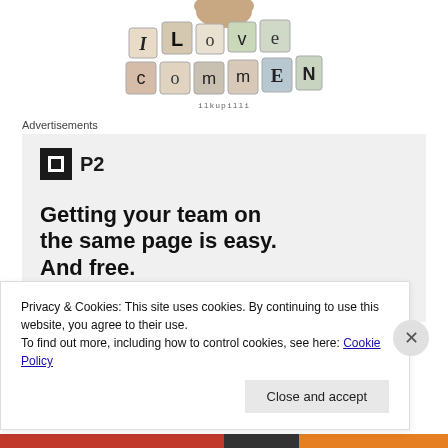[Figure (illustration): Cat paw and 'I Love Comments' logo made of scrabble-style letter tiles, with tagline 'ilkupilli' below]
Advertisements
[Figure (screenshot): P2 advertisement: P2 logo (dark square with white square icon) followed by bold text 'Getting your team on the same page is easy. And free.']
Privacy & Cookies: This site uses cookies. By continuing to use this website, you agree to their use.
To find out more, including how to control cookies, see here: Cookie Policy
Close and accept